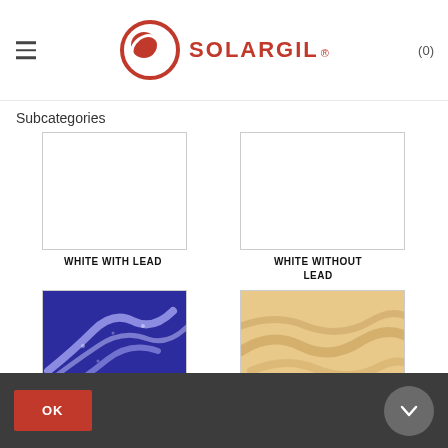SOLARGIL® (0)
Subcategories
[Figure (photo): White product image box (empty/white) for WHITE WITH LEAD category]
WHITE WITH LEAD
[Figure (photo): White product image box (empty/white) for WHITE WITHOUT LEAD category]
WHITE WITHOUT LEAD
[Figure (photo): Blue glaze ceramic texture image with white swirl patterns on deep blue background]
[Figure (photo): Beige/tan glaze ceramic texture image with light swirl patterns]
OK  ↓